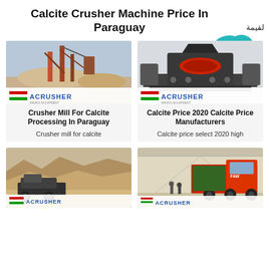Calcite Crusher Machine Price In Paraguay
[Figure (photo): Industrial crusher/conveyor facility with ACRUSHER mining equipment branding at bottom]
[Figure (photo): Large dark-colored VSI crusher machine with red ring, ACRUSHER branding at bottom, with LIVE CHAT bubble in top right corner]
Crusher Mill For Calcite Processing In Paraguay
Crusher mill for calcite
Calcite Price 2020 Calcite Price Manufacturers
Calcite price select 2020 high
[Figure (photo): Mobile crusher machine operating at a quarry/mining site with rocky terrain, ACRUSHER branding]
[Figure (photo): Red FAW truck loaded with materials inside an industrial warehouse/hall, ACRUSHER branding]